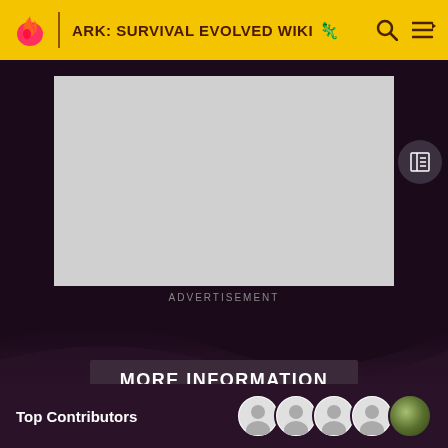ARK: SURVIVAL EVOLVED WIKI
[Figure (screenshot): Advertisement placeholder box (grey rectangle) with ADVERTISEMENT label below]
ADVERTISEMENT
MORE INFORMATION
Top Contributors